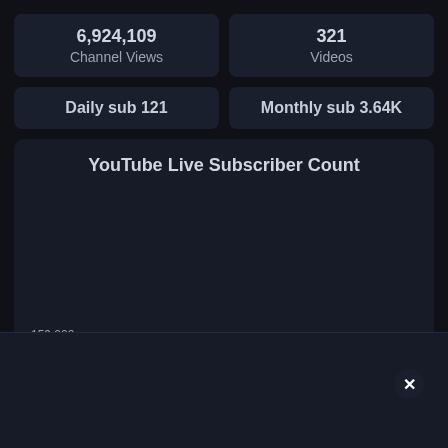6,924,109
Channel Views
321
Videos
Daily sub 121
Monthly sub 3.64K
[Figure (line-chart): Line chart showing YouTube Live Subscriber Count at 159 000, nearly flat line across the chart area]